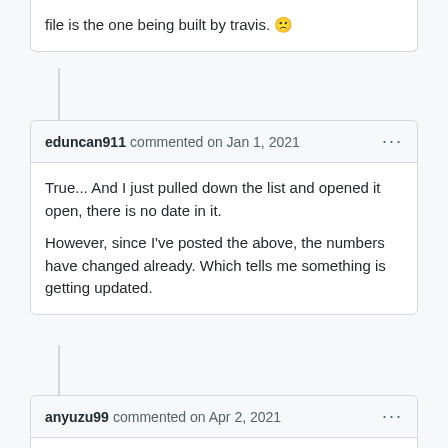file is the one being built by travis. 🙁
eduncan911 commented on Jan 1, 2021
True... And I just pulled down the list and opened it open, there is no date in it.

However, since I've posted the above, the numbers have changed already. Which tells me something is getting updated.
anyuzu99 commented on Apr 2, 2021
generate this with github action weekly.
https://github.com/sayomelu/transmission-blocklist